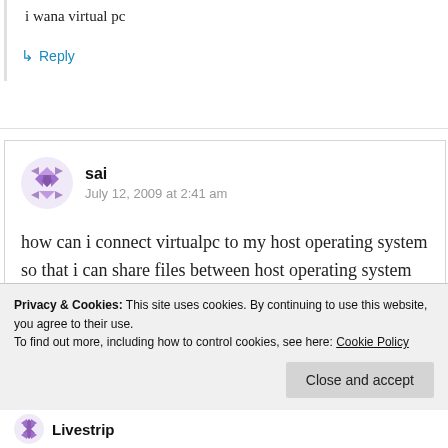i wana virtual pc
↳ Reply
sai
July 12, 2009 at 2:41 am
how can i connect virtualpc to my host operating system so that i can share files between host operating system and virtual pc
Privacy & Cookies: This site uses cookies. By continuing to use this website, you agree to their use.
To find out more, including how to control cookies, see here: Cookie Policy
Close and accept
Livestrip